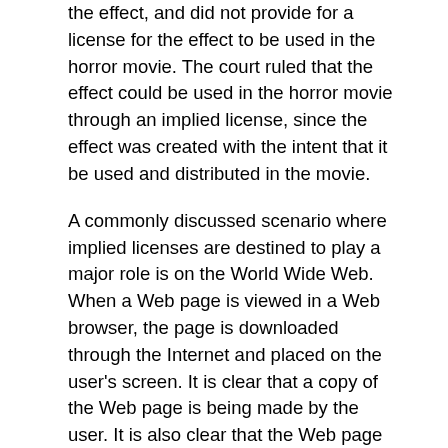the effect, and did not provide for a license for the effect to be used in the horror movie. The court ruled that the effect could be used in the horror movie through an implied license, since the effect was created with the intent that it be used and distributed in the movie.
A commonly discussed scenario where implied licenses are destined to play a major role is on the World Wide Web. When a Web page is viewed in a Web browser, the page is downloaded through the Internet and placed on the user's screen. It is clear that a copy of the Web page is being made by the user. It is also clear that the Web page is protected against unauthorized copying by copyright law. But it would not make sense to allow the author of a Web page to sue a user who viewed her page, since the author intended that the page be viewed by others when she placed it on the World Wide Web. Rather, attorneys argue, courts should find that the Web page author has given end users an implied license to download and view the Web page. The extent of this